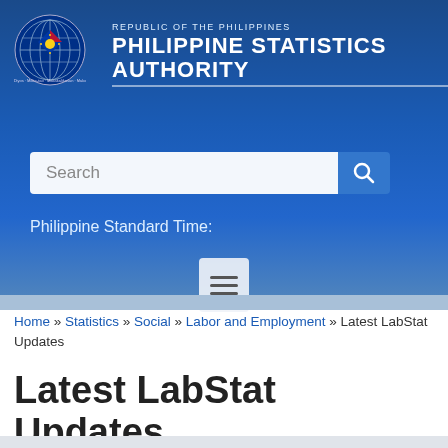[Figure (logo): Philippine Statistics Authority official seal/logo — circular emblem with globe and Philippine flag colors]
Republic of the Philippines
Philippine Statistics Authority
Search
Philippine Standard Time:
Home » Statistics » Social » Labor and Employment » Latest LabStat Updates
Latest LabStat Updates